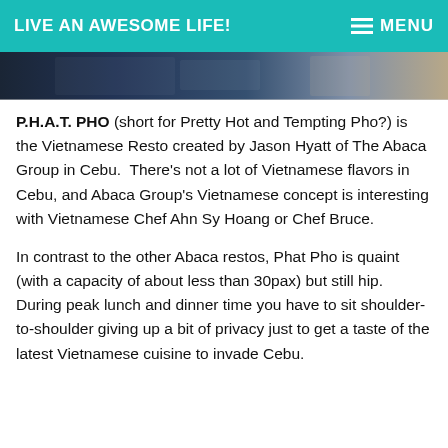LIVE AN AWESOME LIFE!      ≡ MENU
[Figure (photo): Partial photo strip showing restaurant or food venue interior, cropped at top]
P.H.A.T. PHO (short for Pretty Hot and Tempting Pho?) is the Vietnamese Resto created by Jason Hyatt of The Abaca Group in Cebu.  There’s not a lot of Vietnamese flavors in Cebu, and Abaca Group’s Vietnamese concept is interesting with Vietnamese Chef Ahn Sy Hoang or Chef Bruce.
In contrast to the other Abaca restos, Phat Pho is quaint (with a capacity of about less than 30pax) but still hip. During peak lunch and dinner time you have to sit shoulder-to-shoulder giving up a bit of privacy just to get a taste of the latest Vietnamese cuisine to invade Cebu.